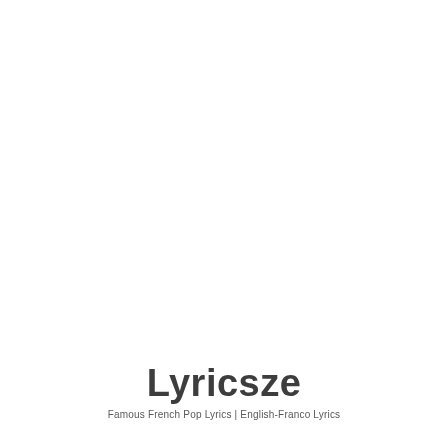Lyricsze
Famous French Pop Lyrics | English-Franco Lyrics